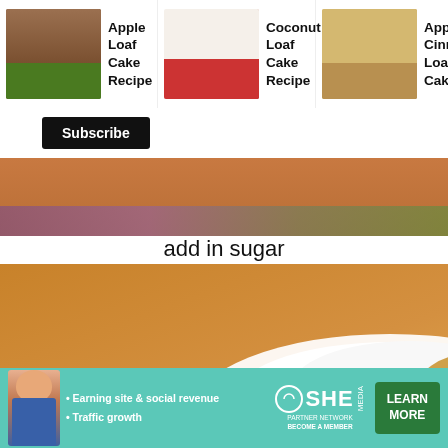[Figure (screenshot): Related recipe cards row: Apple Loaf Cake Recipe, Coconut Loaf Cake Recipe, Apple Cinnamon Loaf Cake]
[Figure (photo): Subscribe button on dark background]
add in sugar
[Figure (photo): Photo of a bowl with sugar and butter/egg mixture, orange bowl on floral surface]
[Figure (infographic): SHE Partner Network advertisement banner: Earning site & social revenue, Traffic growth, LEARN MORE button]